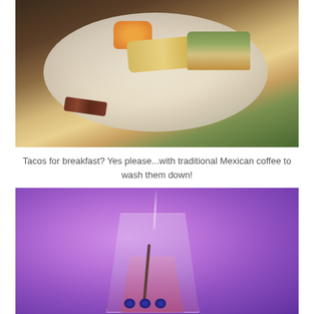[Figure (photo): A white plate with Mexican breakfast food: tacos with shredded toppings, a burrito or tamale with yellow corn, cantaloupe chunks, and bacon, on a dark wooden table.]
Tacos for breakfast? Yes please...with traditional Mexican coffee to wash them down!
[Figure (photo): A glass filled with a pink/red berry drink with blueberries at the bottom and a rising steam or straw, set against a purple/violet blurred background.]